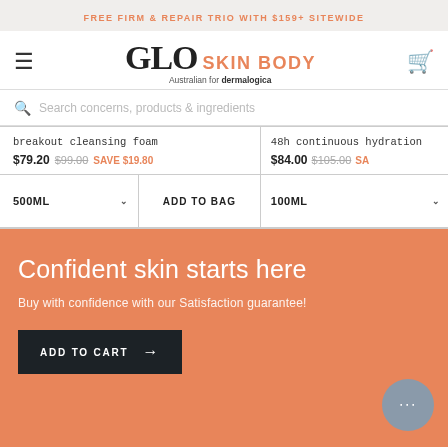FREE FIRM & REPAIR TRIO WITH $159+ SITEWIDE
[Figure (logo): GLO SKIN BODY logo - Australian for dermalogica]
Search concerns, products & ingredients
| breakout cleansing foam | 48h continuous hydration |
| $79.20  $99.00  SAVE $19.80 | $84.00  $105.00  SA... |
| 500ML  ADD TO BAG | 100ML |
Confident skin starts here
Buy with confidence with our Satisfaction guarantee!
ADD TO CART →